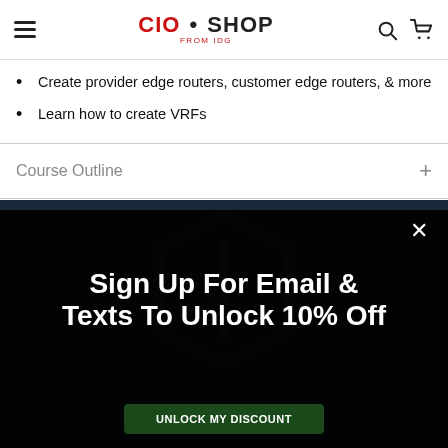CIO • SHOP FROM IDG
Create provider edge routers, customer edge routers, & more
Learn how to create VRFs
Course Outline
[Figure (screenshot): Modal popup overlay on a dark background with hexagon watermark. Shows close button (×) and text: Sign Up For Email & Texts To Unlock 10% Off with a dark green button below.]